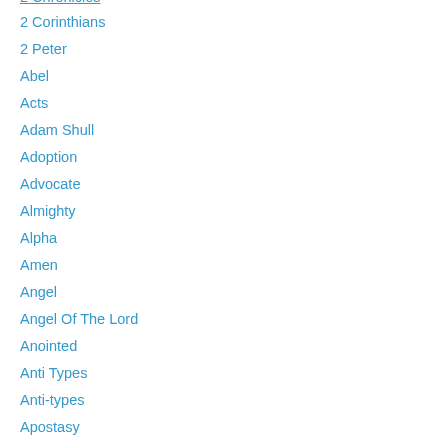2 Chronicles
2 Corinthians
2 Peter
Abel
Acts
Adam Shull
Adoption
Advocate
Almighty
Alpha
Amen
Angel
Angel Of The Lord
Anointed
Anti Types
Anti-types
Apostasy
Apostle
Asa
Author
Authority